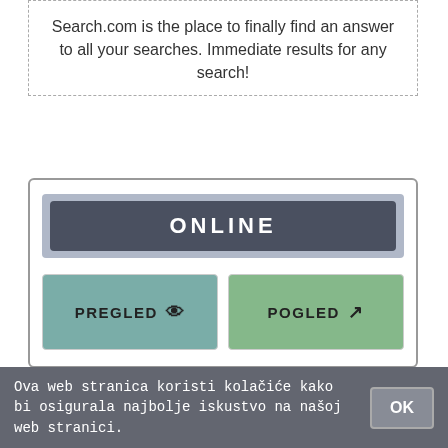Search.com is the place to finally find an answer to all your searches. Immediate results for any search!
[Figure (screenshot): Online status card with dark header bar labeled ONLINE, and two buttons: PREGLED (with eye icon) and POGLED (with external link icon)]
WORLD WIDE WEB RESULTS FOR TARIK FILIPOVIĆ VISINA ON THEWEB
Ova web stranica koristi kolačiće kako bi osigurala najbolje iskustvo na našoj web stranici.